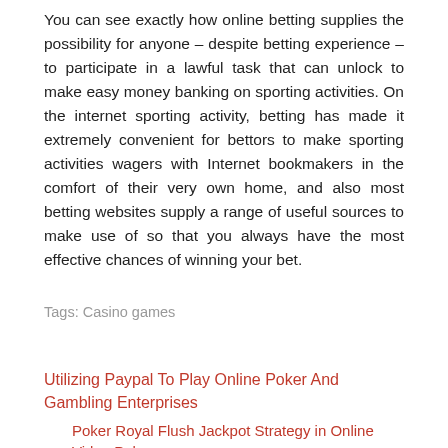You can see exactly how online betting supplies the possibility for anyone – despite betting experience – to participate in a lawful task that can unlock to make easy money banking on sporting activities. On the internet sporting activity, betting has made it extremely convenient for bettors to make sporting activities wagers with Internet bookmakers in the comfort of their very own home, and also most betting websites supply a range of useful sources to make use of so that you always have the most effective chances of winning your bet.
Tags: Casino games
Utilizing Paypal To Play Online Poker And Gambling Enterprises
Poker Royal Flush Jackpot Strategy in Online Video Poker